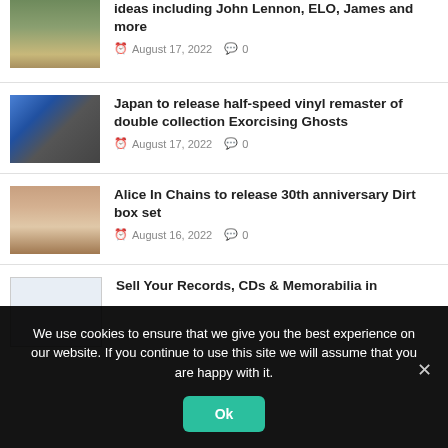[Figure (photo): Partial view of article thumbnail - landscape/outdoor scene]
ideas including John Lennon, ELO, James and more
August 17, 2022   0
[Figure (photo): Band photo of Japan - group of men in formal attire]
Japan to release half-speed vinyl remaster of double collection Exorcising Ghosts
August 17, 2022   0
[Figure (photo): Band photo of Alice In Chains members]
Alice In Chains to release 30th anniversary Dirt box set
August 16, 2022   0
[Figure (screenshot): Screenshot of a webpage or listing]
Sell Your Records, CDs & Memorabilia in
We use cookies to ensure that we give you the best experience on our website. If you continue to use this site we will assume that you are happy with it.
Ok